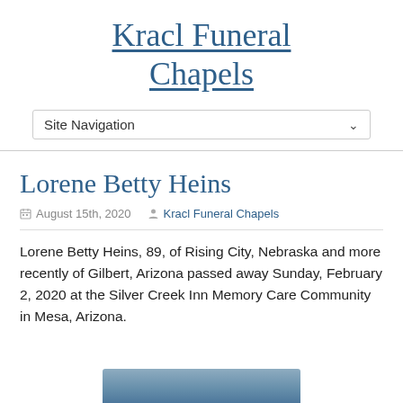Kracl Funeral Chapels
Site Navigation
Lorene Betty Heins
August 15th, 2020   Kracl Funeral Chapels
Lorene Betty Heins, 89, of Rising City, Nebraska and more recently of Gilbert, Arizona passed away Sunday, February 2, 2020 at the Silver Creek Inn Memory Care Community in Mesa, Arizona.
[Figure (photo): Partial photograph visible at bottom of page, appears to be an outdoor or portrait image with blue/grey tones]